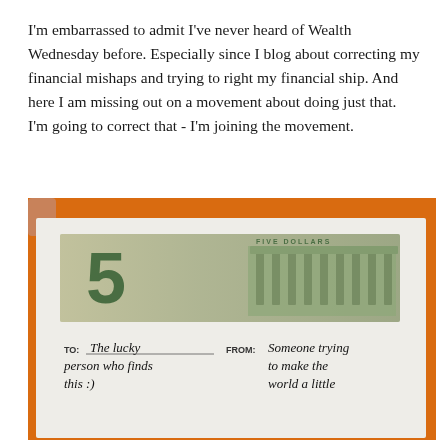I'm embarrassed to admit I've never heard of Wealth Wednesday before. Especially since I blog about correcting my financial mishaps and trying to right my financial ship. And here I am missing out on a movement about doing just that. I'm going to correct that - I'm joining the movement.
[Figure (photo): A photograph of an open white envelope containing a $5 bill, with handwritten text below reading 'TO: The lucky person who finds this :)' and 'FROM: Someone trying to make the world a little']